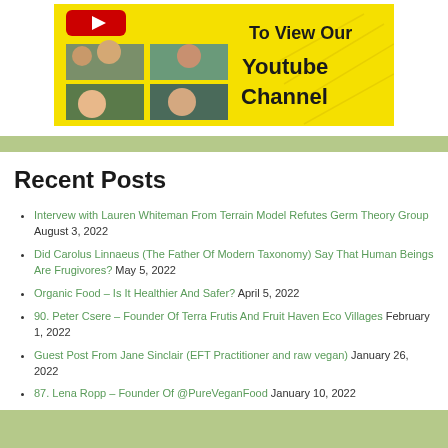[Figure (illustration): YouTube channel banner with yellow background showing four photo thumbnails of people and bold text 'To View Our Youtube Channel' with a red YouTube subscribe button at top left]
Recent Posts
Intervew with Lauren Whiteman From Terrain Model Refutes Germ Theory Group August 3, 2022
Did Carolus Linnaeus (The Father Of Modern Taxonomy) Say That Human Beings Are Frugivores? May 5, 2022
Organic Food – Is It Healthier And Safer? April 5, 2022
90. Peter Csere – Founder Of Terra Frutis And Fruit Haven Eco Villages February 1, 2022
Guest Post From Jane Sinclair (EFT Practitioner and raw vegan) January 26, 2022
87. Lena Ropp – Founder Of @PureVeganFood January 10, 2022